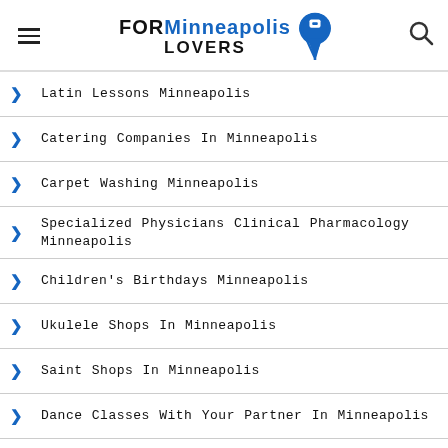FORMinneapolis LOVERS
Latin Lessons Minneapolis
Catering Companies In Minneapolis
Carpet Washing Minneapolis
Specialized Physicians Clinical Pharmacology Minneapolis
Children's Birthdays Minneapolis
Ukulele Shops In Minneapolis
Saint Shops In Minneapolis
Dance Classes With Your Partner In Minneapolis
Custom-made Furniture Minneapolis
Zen Meditation Centers In Minneapolis